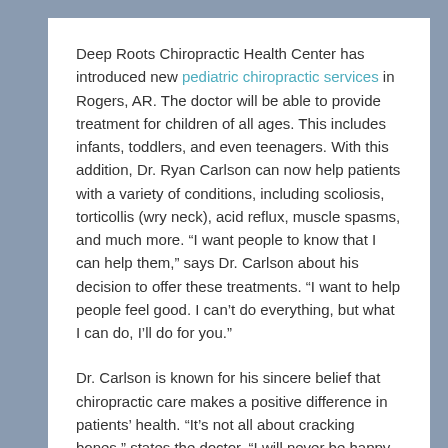Deep Roots Chiropractic Health Center has introduced new pediatric chiropractic services in Rogers, AR. The doctor will be able to provide treatment for children of all ages. This includes infants, toddlers, and even teenagers. With this addition, Dr. Ryan Carlson can now help patients with a variety of conditions, including scoliosis, torticollis (wry neck), acid reflux, muscle spasms, and much more. “I want people to know that I can help them,” says Dr. Carlson about his decision to offer these treatments. “I want to help people feel good. I can’t do everything, but what I can do, I’ll do for you.”
Dr. Carlson is known for his sincere belief that chiropractic care makes a positive difference in patients’ health. “It’s not all about cracking bones,” states the doctor. “I will never be happy with where chiropractic is unless we can show that it really